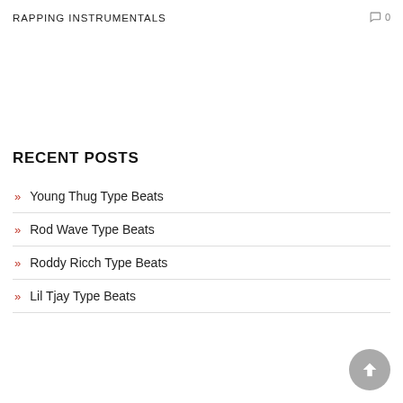RAPPING INSTRUMENTALS
0
RECENT POSTS
Young Thug Type Beats
Rod Wave Type Beats
Roddy Ricch Type Beats
Lil Tjay Type Beats